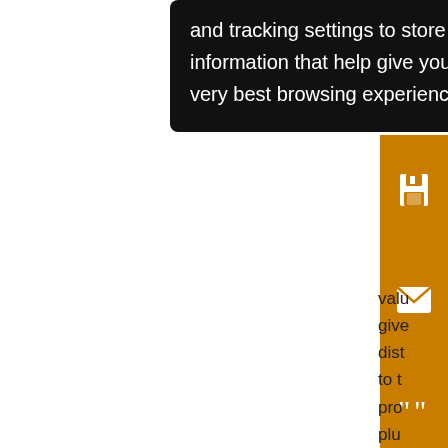and tracking settings to store information that help give you the very best browsing experience.
[Figure (screenshot): Orange vertical sidebar with save, email, quote, annotation, and share icons]
part mea valu give dist to t pro plu